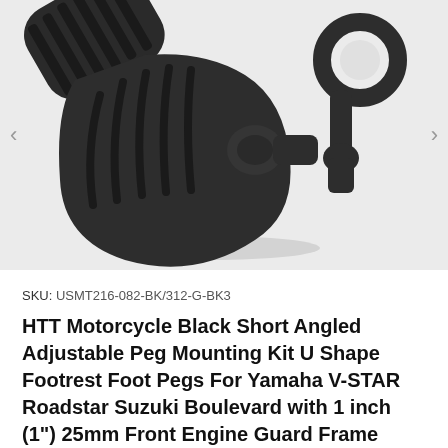[Figure (photo): Black motorcycle foot pegs - short angled adjustable peg mounting kit with U-shape footrest and clamp, shown on white background. Two black matte foot pegs with ribbed surface and a mounting clamp bracket are visible.]
SKU: USMT216-082-BK/312-G-BK3
HTT Motorcycle Black Short Angled Adjustable Peg Mounting Kit U Shape Footrest Foot Pegs For Yamaha V-STAR Roadstar Suzuki Boulevard with 1 inch (1") 25mm Front Engine Guard Frame